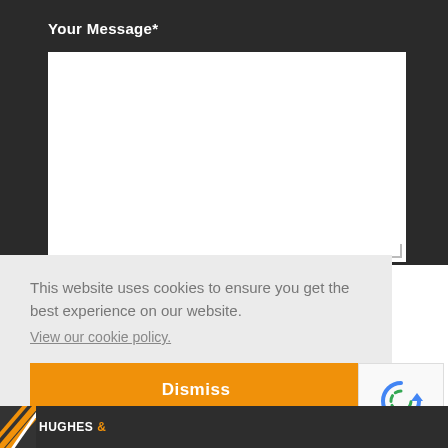Your Message*
[Figure (screenshot): White textarea input box for message entry with resize handle in bottom-right corner]
This website uses cookies to ensure you get the best experience on our website.
View our cookie policy.
Dismiss
[Figure (logo): reCAPTCHA widget with circular arrow icon and Privacy · Terms text]
[Figure (logo): Hughes & Salvidge logo with orange and white diagonal stripes and company name]